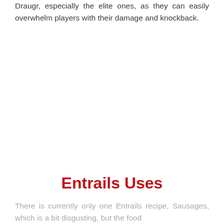Draugr, especially the elite ones, as they can easily overwhelm players with their damage and knockback.
Entrails Uses
There is currently only one Entrails recipe, Sausages, which is a bit disgusting, but the food